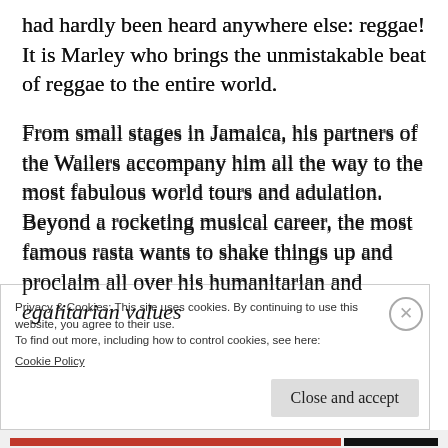had hardly been heard anywhere else: reggae! It is Marley who brings the unmistakable beat of reggae to the entire world.
From small stages in Jamaica, his partners of the Wailers accompany him all the way to the most fabulous world tours and adulation. Beyond a rocketing musical career, the most famous rasta wants to shake things up and proclaim all over his humanitarian and egalitarian values
Privacy & Cookies: This site uses cookies. By continuing to use this website, you agree to their use.
To find out more, including how to control cookies, see here:
Cookie Policy
Close and accept